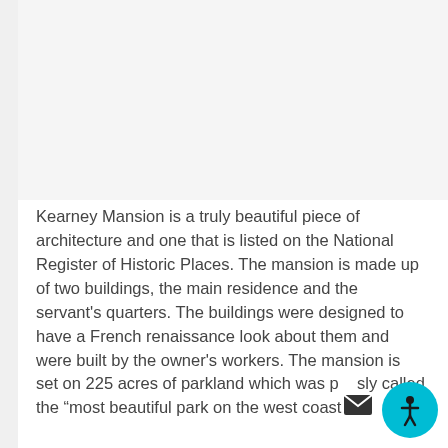[Figure (photo): Top portion of the page showing a white/light gray image placeholder area representing a photograph of Kearney Mansion]
Kearney Mansion is a truly beautiful piece of architecture and one that is listed on the National Register of Historic Places. The mansion is made up of two buildings, the main residence and the servant's quarters. The buildings were designed to have a French renaissance look about them and were built by the owner's workers. The mansion is set on 225 acres of parkland which was p    sly called the “most beautiful park on the west coast